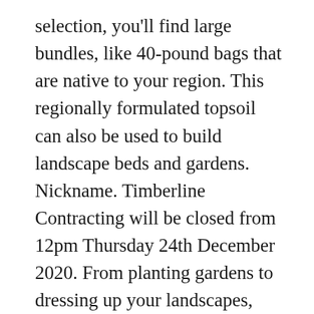selection, you'll find large bundles, like 40-pound bags that are native to your region. This regionally formulated topsoil can also be used to build landscape beds and gardens. Nickname. Timberline Contracting will be closed from 12pm Thursday 24th December 2020. From planting gardens to dressing up your landscapes, Timberline has what you need. Remember it CANNOT contain pestecides, plant steroids, herbicides... Just any chemical at all. 21. Organic Compost Garden Beds Vodka Bottle Backyard Farming Lowes Homestead Fill. Prices and availability of products and services are subject to change without notice. Timberline manufactures